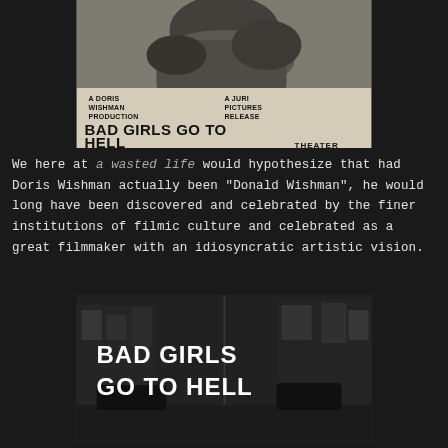[Figure (photo): Movie poster for 'Bad Girls Go to Hell' — black and white image of a woman, with text 'A DORIS WISHMAN PRODUCTION' on the left, 'A JURI PICTURES RELEASE' on the right, large bold title 'BAD GIRLS GO TO HELL' at the bottom, and 'THEATER' on lower right]
We here at a wasted life would hypothesize that had Doris Wishman actually been "Donald Wishman", he would long have been discovered and celebrated by the finer institutions of filmic culture and celebrated as a great filmmaker with an idiosyncratic artistic vision.
[Figure (screenshot): Black and white film still showing a city street scene with large white text overlay reading 'BAD GIRLS GO TO HELL']